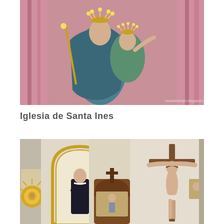[Figure (photo): Religious statue of Mary (Maria Auxiliadora) holding the Child Jesus, both wearing golden star crowns. The figures are painted in blue, white and green robes. Pink curtains/drapes visible in the background. A watermark is visible in the lower right.]
Iglesia de Santa Ines
[Figure (photo): Interior of Iglesia de Santa Ines showing religious statues and altarpieces. On the left, a saint figure in a black robe inside a golden arched niche. Center shows a wooden altar piece with a small cross on top. On the right, a large crucifix with Jesus on the cross. A painting of a face (possibly Jesus or a saint) is visible on the far left.]